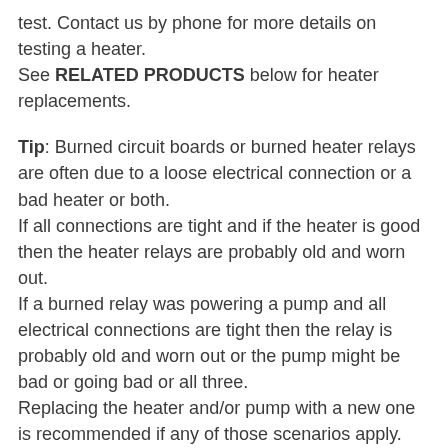test. Contact us by phone for more details on testing a heater.
See RELATED PRODUCTS below for heater replacements.
Tip: Burned circuit boards or burned heater relays are often due to a loose electrical connection or a bad heater or both.
If all connections are tight and if the heater is good then the heater relays are probably old and worn out.
If a burned relay was powering a pump and all electrical connections are tight then the relay is probably old and worn out or the pump might be bad or going bad or all three.
Replacing the heater and/or pump with a new one is recommended if any of those scenarios apply.
Tip: See RELATED PRODUCTS below for more